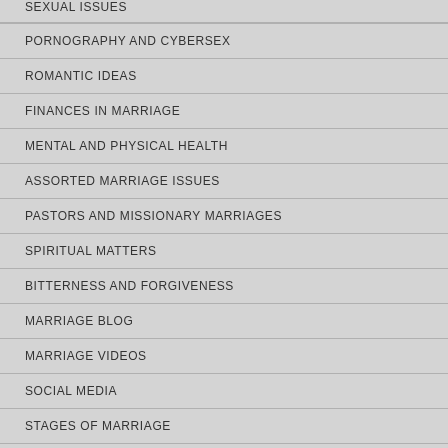SEXUAL ISSUES
PORNOGRAPHY AND CYBERSEX
ROMANTIC IDEAS
FINANCES IN MARRIAGE
MENTAL AND PHYSICAL HEALTH
ASSORTED MARRIAGE ISSUES
PASTORS AND MISSIONARY MARRIAGES
SPIRITUAL MATTERS
BITTERNESS AND FORGIVENESS
MARRIAGE BLOG
MARRIAGE VIDEOS
SOCIAL MEDIA
STAGES OF MARRIAGE
UNBELIEVING SPOUSE